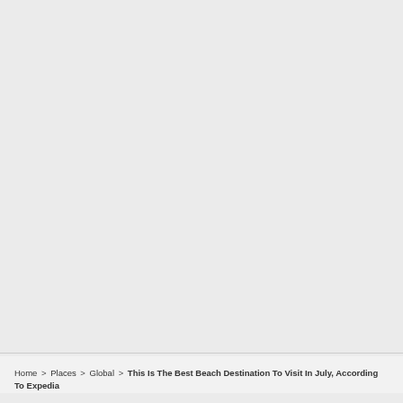[Figure (logo): Travel + Leisure magazine logo in steel blue color]
Home > Places > Global > This Is The Best Beach Destination To Visit In July, According To Expedia